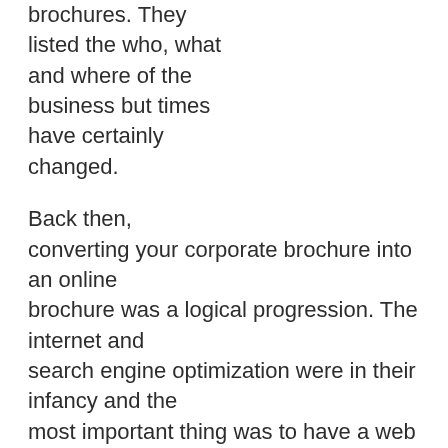brochures. They listed the who, what and where of the business but times have certainly changed.

Back then, converting your corporate brochure into an online brochure was a logical progression. The internet and search engine optimization were in their infancy and the most important thing was to have a web presence. Unfortunately, these types of websites no longer cut the mustard and with the evolution of the internet we have also seen a change in consumer behaviour. People now buy goods and services online including cars, holidays and